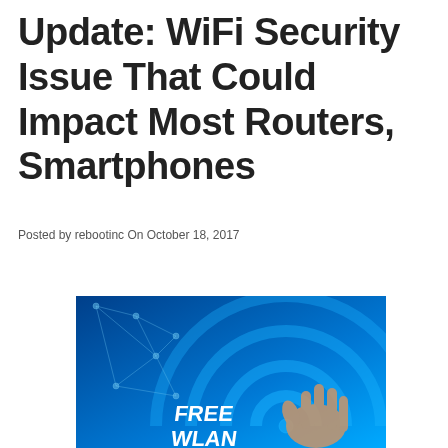Update: WiFi Security Issue That Could Impact Most Routers, Smartphones
Posted by rebootinc On October 18, 2017
[Figure (other): LinkedIn Share button with blue background and white 'in' logo]
[Figure (photo): Blue-toned image of a hand touching a 'FREE WLAN' WiFi symbol graphic with network mesh overlay]